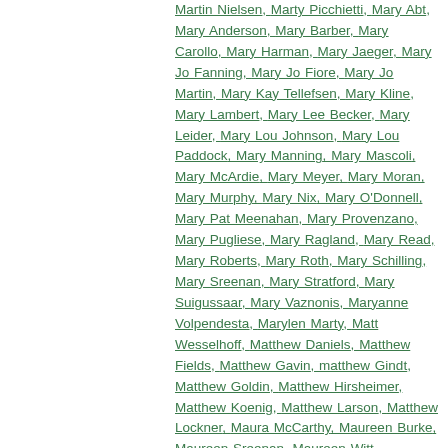Martin Nielsen, Marty Picchietti, Mary Abt, Mary Anderson, Mary Barber, Mary Carollo, Mary Harman, Mary Jaeger, Mary Jo Fanning, Mary Jo Fiore, Mary Jo Martin, Mary Kay Tellefsen, Mary Kline, Mary Lambert, Mary Lee Becker, Mary Leider, Mary Lou Johnson, Mary Lou Paddock, Mary Manning, Mary Mascoli, Mary McArdie, Mary Meyer, Mary Moran, Mary Murphy, Mary Nix, Mary O'Donnell, Mary Pat Meenahan, Mary Provenzano, Mary Pugliese, Mary Ragland, Mary Read, Mary Roberts, Mary Roth, Mary Schilling, Mary Sreenan, Mary Stratford, Mary Suigussaar, Mary Vaznonis, Maryanne Volpendesta, Marylen Marty, Matt Wesselhoff, Matthew Daniels, Matthew Fields, Matthew Gavin, matthew Gindt, Matthew Goldin, Matthew Hirsheimer, Matthew Koenig, Matthew Larson, Matthew Lockner, Maura McCarthy, Maureen Burke, Maureen Sreenan, Maureen Witt, McDonalds, Meg LeSueur, Meg Mannebach, Meg Marshall, Meg Nelson, Megan White, Mel Levy, Melanie Barker, Melanie Sullivan, Melina Melchoirre, Melinda Morrison, Melinda Thorson, Melissa Benzuly, Melissa Buck, Melissa Meyer, Melissa Ray, Melody Newman, Meredith Meissner, Merle Monroe, Merrill Miller, Meryl Schwartzberg,